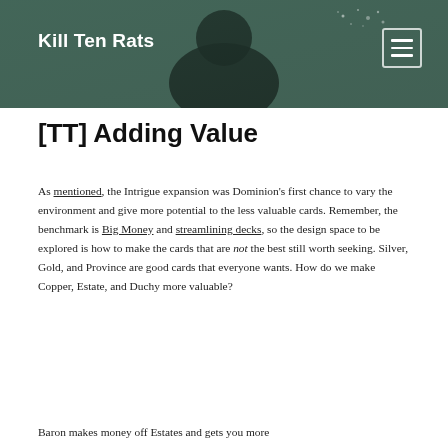Kill Ten Rats
[TT] Adding Value
As mentioned, the Intrigue expansion was Dominion's first chance to vary the environment and give more potential to the less valuable cards. Remember, the benchmark is Big Money and streamlining decks, so the design space to be explored is how to make the cards that are not the best still worth seeking. Silver, Gold, and Province are good cards that everyone wants. How do we make Copper, Estate, and Duchy more valuable?
Baron makes money off Estates and gets you more